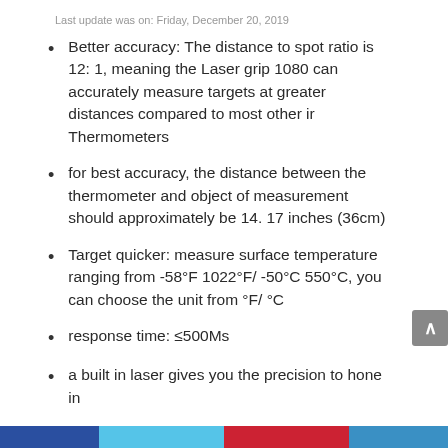Last update was on: Friday, December 20, 2019
Better accuracy: The distance to spot ratio is 12: 1, meaning the Laser grip 1080 can accurately measure targets at greater distances compared to most other ir Thermometers
for best accuracy, the distance between the thermometer and object of measurement should approximately be 14. 17 inches (36cm)
Target quicker: measure surface temperature ranging from -58°F 1022°F/ -50°C 550°C, you can choose the unit from °F/ °C
response time: ≤500Ms
a built in laser gives you the precision to hone in